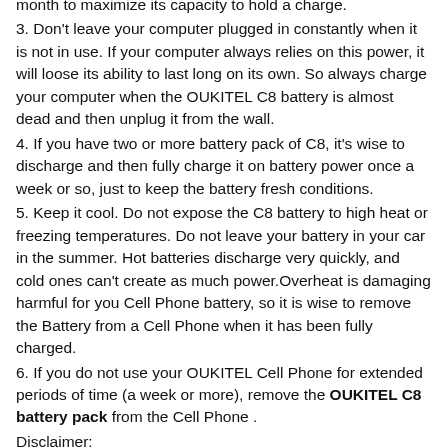3. Don't leave your computer plugged in constantly when it is not in use. If your computer always relies on this power, it will loose its ability to last long on its own. So always charge your computer when the OUKITEL C8 battery is almost dead and then unplug it from the wall.
4. If you have two or more battery pack of C8, it's wise to discharge and then fully charge it on battery power once a week or so, just to keep the battery fresh conditions.
5. Keep it cool. Do not expose the C8 battery to high heat or freezing temperatures. Do not leave your battery in your car in the summer. Hot batteries discharge very quickly, and cold ones can't create as much power.Overheat is damaging harmful for you Cell Phone battery, so it is wise to remove the Battery from a Cell Phone when it has been fully charged.
6. If you do not use your OUKITEL Cell Phone for extended periods of time (a week or more), remove the OUKITEL C8 battery pack from the Cell Phone .
Disclaimer: